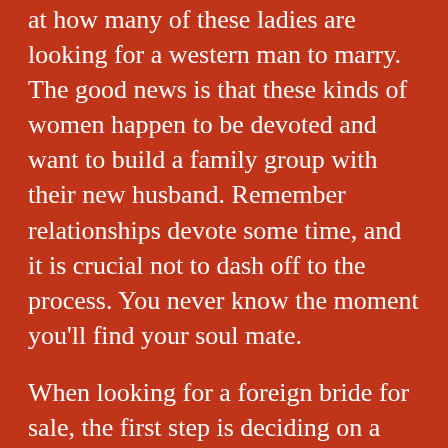at how many of these ladies are looking for a western man to marry. The good news is that these kinds of women happen to be devoted and want to build a family group with their new husband. Remember relationships devote some time, and it is crucial not to dash off to the process. You never know the moment you'll find your soul mate.
When looking for a foreign bride for sale, the first step is deciding on a platform just where communication tools are efficient. A cheap journey to Colombia will cost around two-hundred dollar, and a good hotel room will cost about $30. Then, look for a good portion on places to stay. Ukraine is among the least expensive countries to live in and obtain a bride that you can buy for less than three hundred. The cost of residing in Colombia can be so low, a pleasant